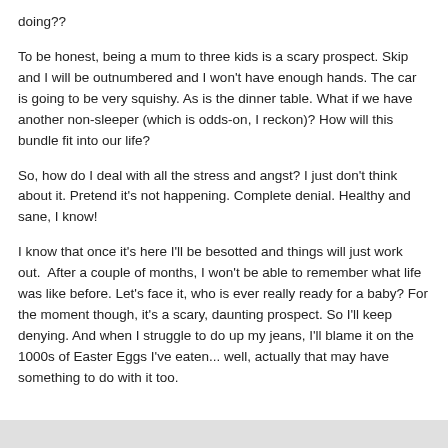doing??
To be honest, being a mum to three kids is a scary prospect. Skip and I will be outnumbered and I won't have enough hands. The car is going to be very squishy. As is the dinner table. What if we have another non-sleeper (which is odds-on, I reckon)? How will this bundle fit into our life?
So, how do I deal with all the stress and angst? I just don't think about it. Pretend it's not happening. Complete denial. Healthy and sane, I know!
I know that once it's here I'll be besotted and things will just work out.  After a couple of months, I won't be able to remember what life was like before. Let's face it, who is ever really ready for a baby? For the moment though, it's a scary, daunting prospect. So I'll keep denying. And when I struggle to do up my jeans, I'll blame it on the 1000s of Easter Eggs I've eaten... well, actually that may have something to do with it too.